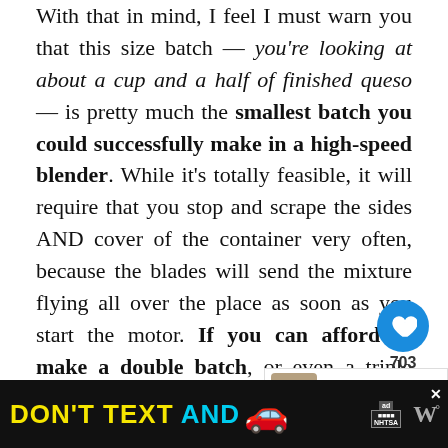With that in mind, I feel I must warn you that this size batch — you're looking at about a cup and a half of finished queso — is pretty much the smallest batch you could successfully make in a high-speed blender. While it's totally feasible, it will require that you stop and scrape the sides AND cover of the container very often, because the blades will send the mixture flying all over the place as soon as you start the motor. If you can afford to make a double batch, or even a triple batch, then by all means go ahead and do it; It'll make your life SO much easier! Or, you could use a smaller regular blender, but the final product won't be nearly as smooth and
[Figure (other): UI overlay with heart/favorite button showing count 703 and share button]
[Figure (other): What's Next callout showing Warm Peanut Thai Noodle...]
[Figure (other): DON'T TEXT AND [drive] advertisement banner with car emoji, ad badge and NHTSA logo]